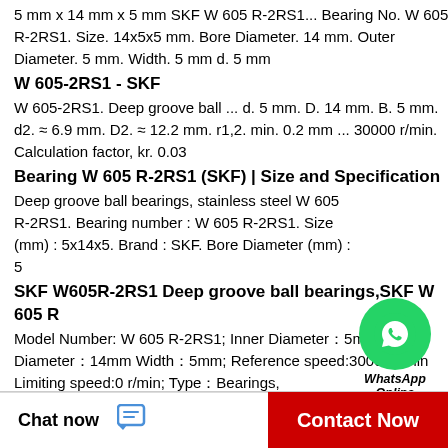5 mm x 14 mm x 5 mm SKF W 605 R-2RS1... Bearing No. W 605 R-2RS1. Size. 14x5x5 mm. Bore Diameter. 14 mm. Outer Diameter. 5 mm. Width. 5 mm d. 5 mm
W 605-2RS1 - SKF
W 605-2RS1. Deep groove ball ... d. 5 mm. D. 14 mm. B. 5 mm. d2. ≈ 6.9 mm. D2. ≈ 12.2 mm. r1,2. min. 0.2 mm ... 30000 r/min. Calculation factor, kr. 0.03
Bearing W 605 R-2RS1 (SKF) | Size and Specification
Deep groove ball bearings, stainless steel W 605 R-2RS1. Bearing number : W 605 R-2RS1. Size (mm) : 5x14x5. Brand : SKF. Bore Diameter (mm) : 5
[Figure (logo): WhatsApp green circle logo with phone icon and 'WhatsApp Online' label]
SKF W605R-2RS1 Deep groove ball bearings,SKF W 605 R
Model Number: W 605 R-2RS1; Inner Diameter：5mm Outer Diameter：14mm Width：5mm; Reference speed:30000 r/min Limiting speed:0 r/min; Type：Bearings,
Chat now
Contact Now